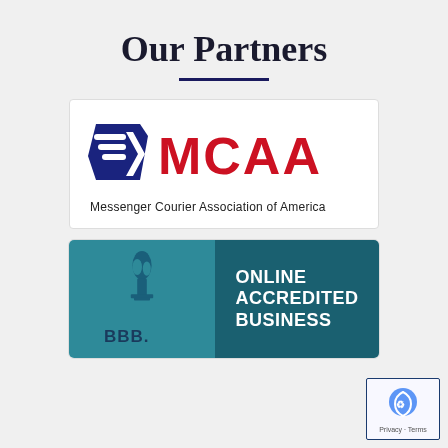Our Partners
[Figure (logo): MCAA logo — Messenger Courier Association of America. Blue speed-lines icon on the left, red bold text 'MCAA' on the right, with tagline 'Messenger Courier Association of America' below in black serif font.]
[Figure (logo): BBB Online Accredited Business badge. Left side: teal/blue background with BBB torch flame icon and 'BBB.' text. Right side: darker teal background with white bold text 'ONLINE ACCREDITED BUSINESS'.]
[Figure (logo): Google Privacy & Terms reCAPTCHA badge in bottom right corner. Shows a partial blue reCAPTCHA icon with 'Privacy - Terms' text below.]